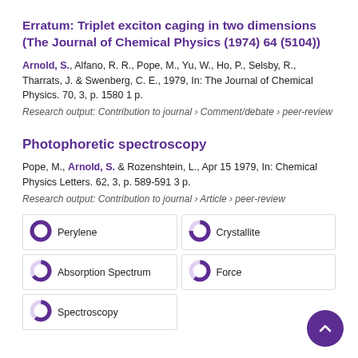Erratum: Triplet exciton caging in two dimensions (The Journal of Chemical Physics (1974) 64 (5104))
Arnold, S., Alfano, R. R., Pope, M., Yu, W., Ho, P., Selsby, R., Tharrats, J. & Swenberg, C. E., 1979, In: The Journal of Chemical Physics. 70, 3, p. 1580 1 p.
Research output: Contribution to journal › Comment/debate › peer-review
Photophoretic spectroscopy
Pope, M., Arnold, S. & Rozenshtein, L., Apr 15 1979, In: Chemical Physics Letters. 62, 3, p. 589-591 3 p.
Research output: Contribution to journal › Article › peer-review
[Figure (infographic): Fingerprint keyword badges: Perylene (100%), Crystallite (75%), Absorption Spectrum (65%), Force (60%), Spectroscopy (60%)]